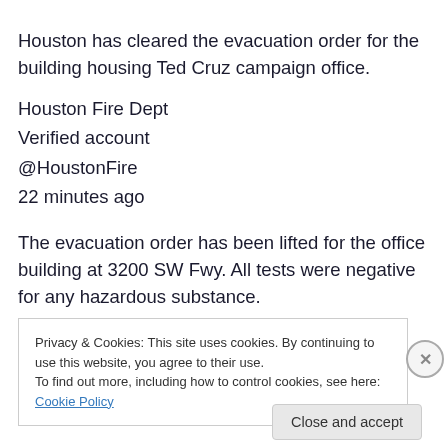Houston has cleared the evacuation order for the building housing Ted Cruz campaign office.
Houston Fire Dept
Verified account
@HoustonFire
22 minutes ago
The evacuation order has been lifted for the office building at 3200 SW Fwy. All tests were negative for any hazardous substance.
Privacy & Cookies: This site uses cookies. By continuing to use this website, you agree to their use.
To find out more, including how to control cookies, see here: Cookie Policy